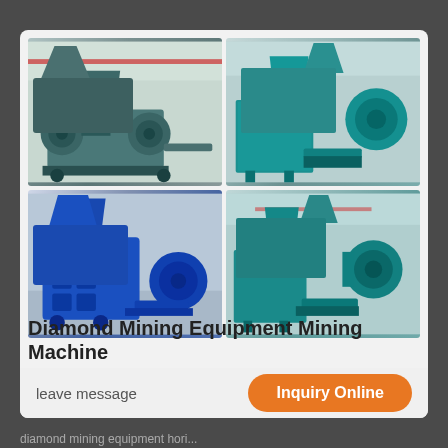[Figure (photo): Grid of four photos showing industrial mining/briquetting machines. Top-left: gray-green briquetting press machine in factory. Top-right: teal/green briquetting machine with hopper. Bottom-left: blue briquetting press machine. Bottom-right: teal briquetting machine similar to top-right.]
Diamond Mining Equipment Mining Machine
leave message
Inquiry Online
diamond mining equipment hori...